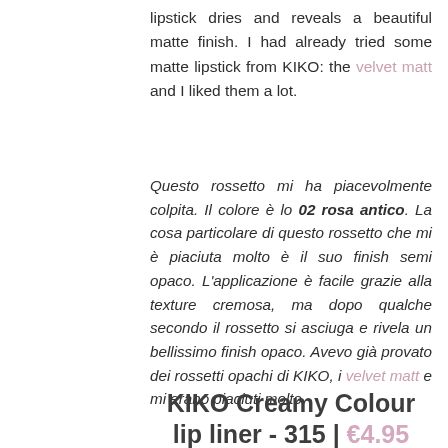lipstick dries and reveals a beautiful matte finish. I had already tried some matte lipstick from KIKO: the velvet matt and I liked them a lot.
Questo rossetto mi ha piacevolmente colpita. Il colore è lo 02 rosa antico. La cosa particolare di questo rossetto che mi è piaciuta molto è il suo finish semi opaco. L'applicazione è facile grazie alla texture cremosa, ma dopo qualche secondo il rossetto si asciuga e rivela un bellissimo finish opaco. Avevo già provato dei rossetti opachi di KIKO, i velvet matt e mi erano piaciuti molto.
KIKO Creamy Colour lip liner - 315 | €4.95
This lip pencil is very soft and creamy, but I find that the application is not uniform. If I had to choose a lip pencil, the best ones are those by